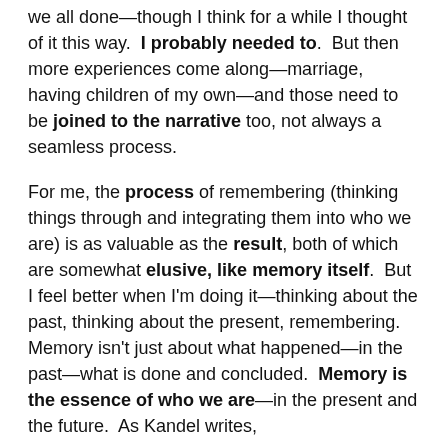we all done—though I think for a while I thought of it this way.  I probably needed to.  But then more experiences come along—marriage, having children of my own—and those need to be joined to the narrative too, not always a seamless process.
For me, the process of remembering (thinking things through and integrating them into who we are) is as valuable as the result, both of which are somewhat elusive, like memory itself.  But I feel better when I'm doing it—thinking about the past, thinking about the present, remembering.  Memory isn't just about what happened—in the past—what is done and concluded.  Memory is the essence of who we are—in the present and the future.  As Kandel writes,
“It is, of course, memory that weaves one’s life into a coherent whole.”